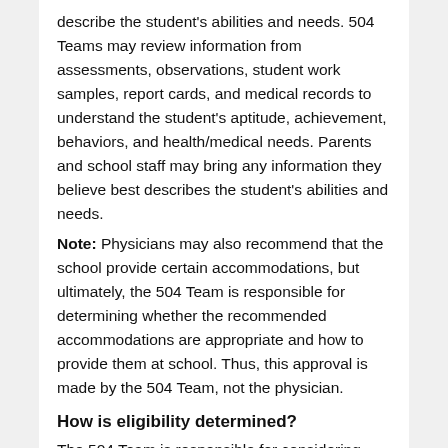describe the student's abilities and needs. 504 Teams may review information from assessments, observations, student work samples, report cards, and medical records to understand the student's aptitude, achievement, behaviors, and health/medical needs. Parents and school staff may bring any information they believe best describes the student's abilities and needs.
Note: Physicians may also recommend that the school provide certain accommodations, but ultimately, the 504 Team is responsible for determining whether the recommended accommodations are appropriate and how to provide them at school. Thus, this approval is made by the 504 Team, not the physician.
How is eligibility determined?
The 504 Team is responsible for considering,